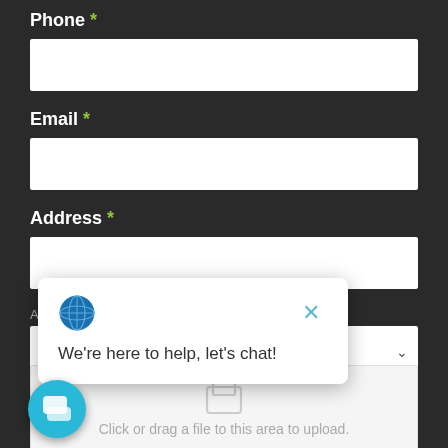Phone *
Email *
Address *
Address Line 1
State
We're here to help, let's chat!
Click or drag a file to this area to upload.